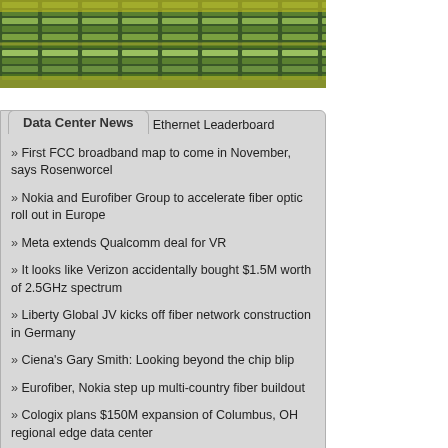[Figure (photo): Data center server racks with yellow cable management and networking equipment]
Data Center News
» Lumen tops US Carrier Ethernet Leaderboard
» First FCC broadband map to come in November, says Rosenworcel
» Nokia and Eurofiber Group to accelerate fiber optic roll out in Europe
» Meta extends Qualcomm deal for VR
» It looks like Verizon accidentally bought $1.5M worth of 2.5GHz spectrum
» Liberty Global JV kicks off fiber network construction in Germany
» Ciena's Gary Smith: Looking beyond the chip blip
» Eurofiber, Nokia step up multi-country fiber buildout
» Cologix plans $150M expansion of Columbus, OH regional edge data center
» Structure Research to host annual infra/Structure Summit 2022 in Toronto
Latest Facilities
» Virtury Cloud DC-ISB01, Islamabad